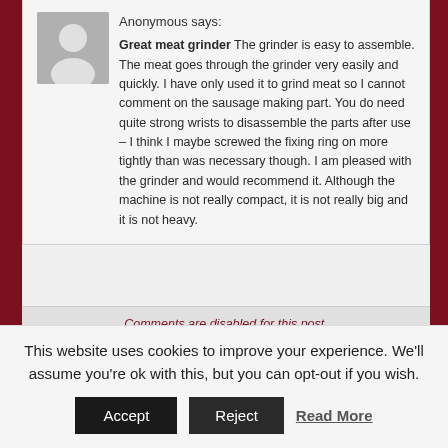Anonymous says:
Great meat grinder The grinder is easy to assemble. The meat goes through the grinder very easily and quickly. I have only used it to grind meat so I cannot comment on the sausage making part. You do need quite strong wrists to disassemble the parts after use – I think I maybe screwed the fixing ring on more tightly than was necessary though. I am pleased with the grinder and would recommend it. Although the machine is not really compact, it is not really big and it is not heavy.
Comments are disabled for this post.
Categories
Appliances
This website uses cookies to improve your experience. We'll assume you're ok with this, but you can opt-out if you wish.